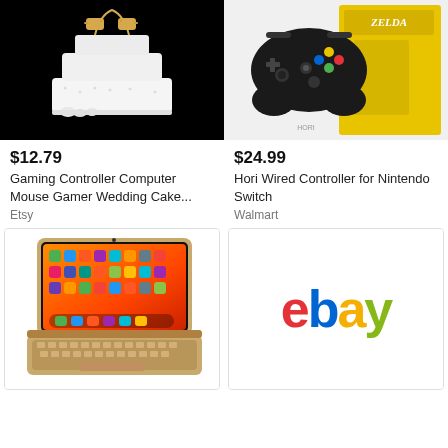[Figure (photo): Gaming controller-themed wedding cake topper on a white tiered cake against black background]
[Figure (photo): Hori Wired Controller for Nintendo Switch (Zelda edition) with product box]
$12.79
Gaming Controller Computer Mouse Gamer Wedding Cake...
Etsy
$24.99
Hori Wired Controller for Nintendo Switch
Walmart
[Figure (photo): iPad with gold keyboard case/folio keyboard with touchpad]
[Figure (logo): eBay logo in multicolor (red e, blue b, yellow a, green y)]